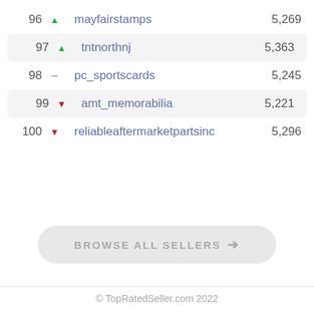96 ▲ mayfairstamps 5,269
97 ▲ tntnorthnj 5,363
98 — pc_sportscards 5,245
99 ▼ amt_memorabilia 5,221
100 ▼ reliableaftermarketpartsinc 5,296
BROWSE ALL SELLERS →
© TopRatedSeller.com 2022